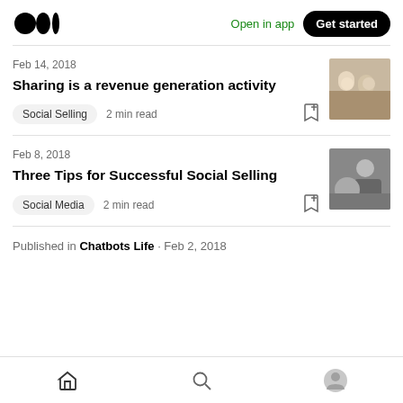Medium logo | Open in app | Get started
Feb 14, 2018
Sharing is a revenue generation activity
Social Selling  2 min read
[Figure (photo): Two young children sitting outdoors, color photo]
Feb 8, 2018
Three Tips for Successful Social Selling
Social Media  2 min read
[Figure (photo): Black and white photo of a man and child]
Published in Chatbots Life · Feb 2, 2018
Home | Search | Profile